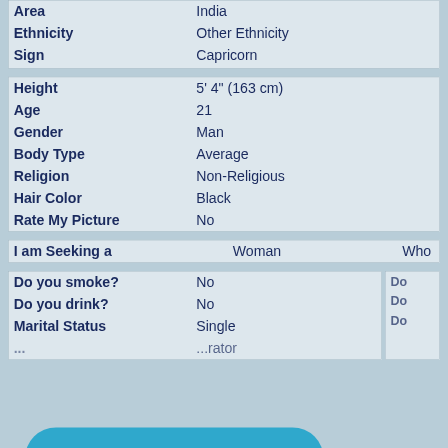| Area | India |
| Ethnicity | Other Ethnicity |
| Sign | Capricorn |
| Height | 5' 4" (163 cm) |
| Age | 21 |
| Gender | Man |
| Body Type | Average |
| Religion | Non-Religious |
| Hair Color | Black |
| Rate My Picture | No |
| I am Seeking a | Woman | Who |
| Do you smoke? | No |
| Do you drink? | No |
| Marital Status | Single |
| ... | ...rator |
[Figure (other): REGISTER button — large teal pill-shaped button with white bold text 'REGISTER']